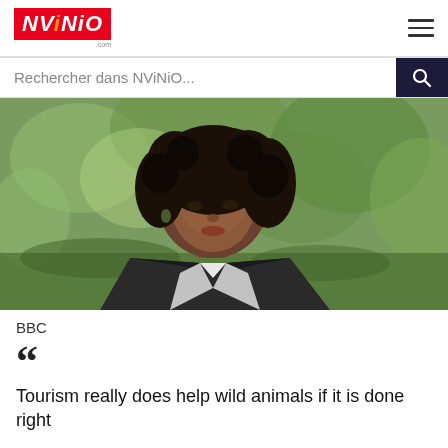[Figure (logo): NViNiO logo in red box with white italic bold text]
Rechercher dans NViNiO...
[Figure (photo): A woman with curly hair wearing a dark blazer and white shirt, photographed outdoors with green bokeh background]
BBC
Tourism really does help wild animals if it is done right